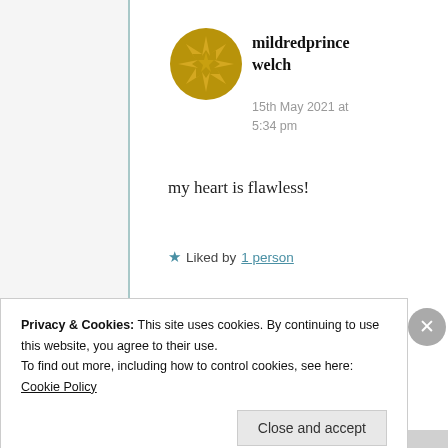[Figure (illustration): Gold decorative circular badge/avatar icon with star and arrow pattern]
mildredprince
welch
15th May 2021 at 5:34 pm
my heart is flawless!
★ Liked by 1 person
Privacy & Cookies: This site uses cookies. By continuing to use this website, you agree to their use.
To find out more, including how to control cookies, see here: Cookie Policy
Close and accept